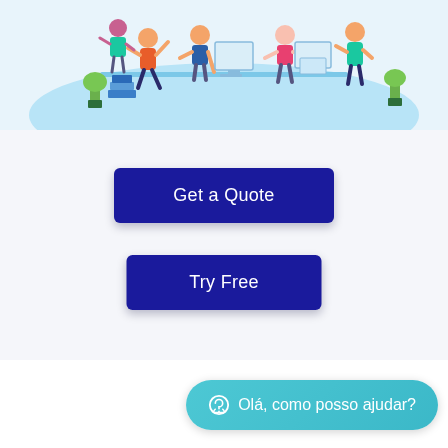[Figure (illustration): Colorful flat illustration of office workers at desks with computers, plants and books on a light blue ellipse background]
Get a Quote
Try Free
Olá, como posso ajudar?